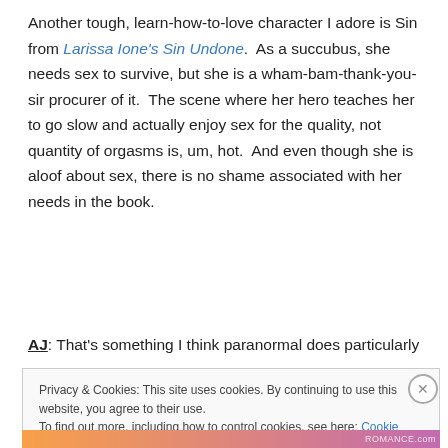Another tough, learn-how-to-love character I adore is Sin from Larissa Ione's Sin Undone.  As a succubus, she needs sex to survive, but she is a wham-bam-thank-you-sir procurer of it.  The scene where her hero teaches her to go slow and actually enjoy sex for the quality, not quantity of orgasms is, um, hot.  And even though she is aloof about sex, there is no shame associated with her needs in the book.
AJ: That's something I think paranormal does particularly
Privacy & Cookies: This site uses cookies. By continuing to use this website, you agree to their use.
To find out more, including how to control cookies, see here: Cookie Policy
Close and accept